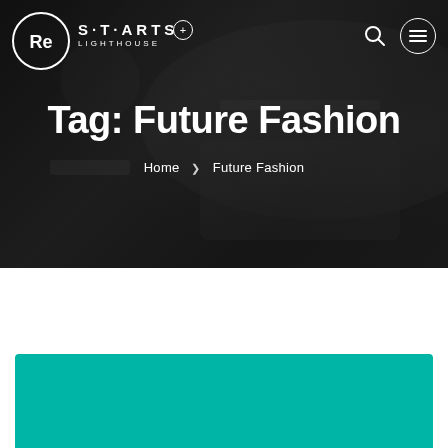[Figure (screenshot): Dark hero background with tech/gadget photo showing laptop and wearable device]
Re S·T·ARTS LIGHTHOUSE + [search icon] [menu icon]
Tag: Future Fashion
Home › Future Fashion
[Figure (illustration): Teal/turquoise colored card at bottom of page]